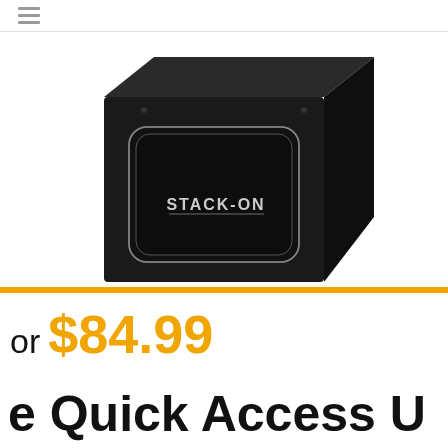[Figure (photo): A black Stack-On brand home safe/security box with a recessed front panel and silver logo text reading STACK-ON, shown at a slight angle on a white background.]
or $84.99
e Quick Access U